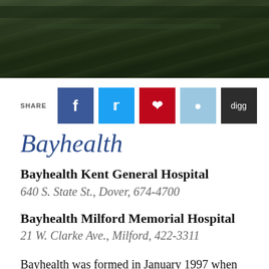[Figure (photo): Aerial or landscape photo of dark green/brown terrain, appears to be a top-down view of fields or roads]
SHARE
[Figure (infographic): Social sharing buttons: Facebook (blue), Twitter (light blue), Pinterest (red), Reddit (light blue), Digg (dark grey)]
Bayhealth
Bayhealth Kent General Hospital
640 S. State St., Dover, 674-4700
Bayhealth Milford Memorial Hospital
21 W. Clarke Ave., Milford, 422-3311
Bayhealth was formed in January 1997 when Kent General Hospital, founded in 1927, and Milford